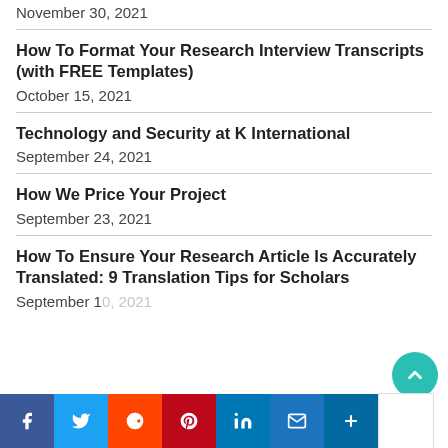November 30, 2021
How To Format Your Research Interview Transcripts (with FREE Templates)
October 15, 2021
Technology and Security at K International
September 24, 2021
How We Price Your Project
September 23, 2021
How To Ensure Your Research Article Is Accurately Translated: 9 Translation Tips for Scholars
September 10, 2021